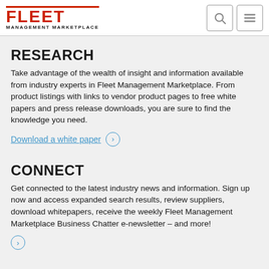FLEET MANAGEMENT MARKETPLACE
RESEARCH
Take advantage of the wealth of insight and information available from industry experts in Fleet Management Marketplace. From product listings with links to vendor product pages to free white papers and press release downloads, you are sure to find the knowledge you need.
Download a white paper ›
CONNECT
Get connected to the latest industry news and information. Sign up now and access expanded search results, review suppliers, download whitepapers, receive the weekly Fleet Management Marketplace Business Chatter e-newsletter – and more!